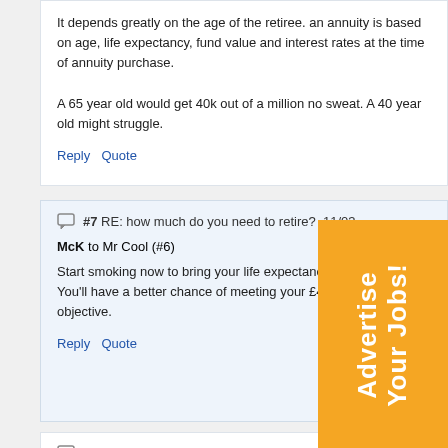It depends greatly on the age of the retiree. an annuity is based on age, life expectancy, fund value and interest rates at the time of annuity purchase.

A 65 year old would get 40k out of a million no sweat. A 40 year old might struggle.
Reply  Quote
#7 RE: how much do you need to retire?  11/03
McK to Mr Cool (#6)
Start smoking now to bring your life expectancy retirement down. You'll have a better chance of meeting your £40k/annum objective.
Reply  Quote
#8 RE: how much do you need to retire?  11/03/2011 15:35
geeza to McK (#7)
[Figure (infographic): Orange advertising banner with text 'Advertise Your Jobs!' rotated vertically]